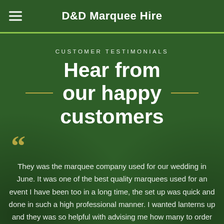D&D Marquee Hire
CUSTOMER TESTIMONIALS
Hear from our happy customers
They was the marquee company used for our wedding in June. It was one of the best quality marquees used for an event I have been too in a long time, the set up was quick and done in such a high professional manner. I wanted lanterns up and they was so helpful with advising me how many to order as they know the marquee best